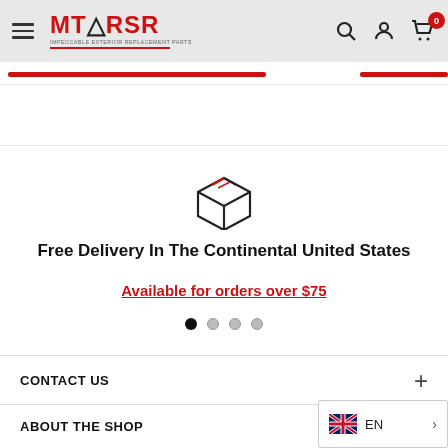MT RSR - Navigation header with logo, search, account, and cart icons
[Figure (illustration): Package/box icon with flag stripe pattern inside, representing free delivery]
Free Delivery In The Continental United States
Available for orders over $75
[Figure (infographic): Carousel navigation dots: 4 dots, first one filled/active, rest inactive]
CONTACT US
ABOUT THE SHOP